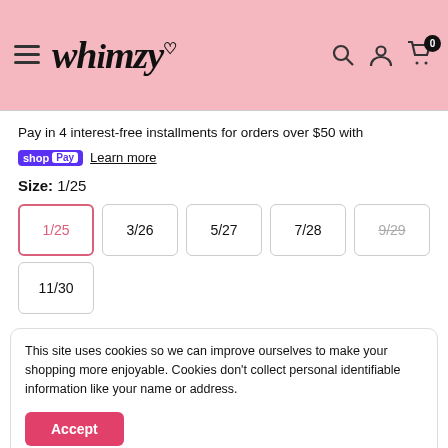[Figure (logo): Whimzy logo with hamburger menu, search, account and cart icons on pink background header]
Pay in 4 interest-free installments for orders over $50 with
shop Pay  Learn more
Size: 1/25
1/25 (selected)
3/26
5/27
7/28
9/29 (unavailable, strikethrough)
11/30
This site uses cookies so we can improve ourselves to make your shopping more enjoyable. Cookies don't collect personal identifiable information like your name or address.
Accept
Shipping calculated at checkout